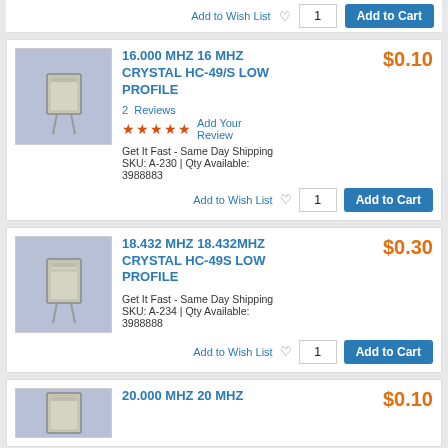Add to Wish List  1  Add to Cart
[Figure (photo): Crystal oscillator HC-49/S low profile component, metallic rectangular package with two leads, on light purple-grey background]
16.000 MHZ 16 MHZ CRYSTAL HC-49/S LOW PROFILE
$0.10
2 Reviews
★★★★★ Add Your Review
Get It Fast - Same Day Shipping
SKU: A-230 | Qty Available: 3988883
Add to Wish List  1  Add to Cart
[Figure (photo): Crystal oscillator HC-49S low profile component, metallic rectangular package with two leads, on light purple-grey background]
18.432 MHZ 18.432MHZ CRYSTAL HC-49S LOW PROFILE
$0.30
Get It Fast - Same Day Shipping
SKU: A-234 | Qty Available: 3988888
Add to Wish List  1  Add to Cart
20.000 MHZ 20 MHZ
$0.10